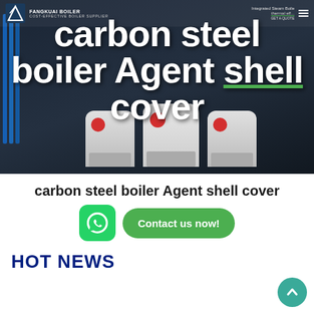[Figure (photo): Hero banner showing industrial steam boilers in a dark blue industrial setting with navigation bar overlay. Large bold white text reads 'carbon steel boiler Agent shell cover' overlaid on the image.]
carbon steel boiler Agent shell cover
Contact us now!
HOT NEWS